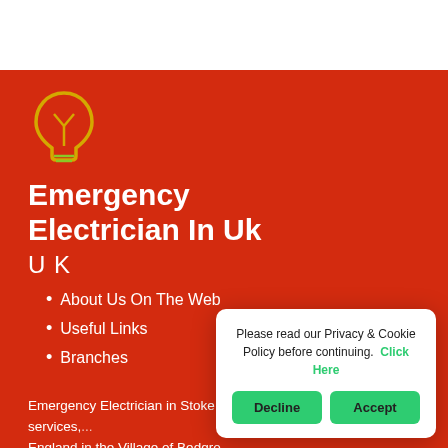[Figure (logo): Lightbulb outline logo in yellow/green on red background]
Emergency Electrician In Uk
U K
About Us On The Web
Useful Links
Branches
Emergency Electrician in Stoke M... emergency electrician services,... England in the Village of Bedgro... Buckinghamshire, working with c...
Please read our Privacy & Cookie Policy before continuing. Click Here
Decline
Accept